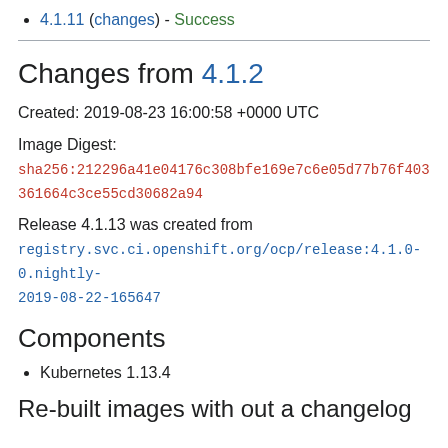4.1.11 (changes) - Success
Changes from 4.1.2
Created: 2019-08-23 16:00:58 +0000 UTC
Image Digest:
sha256:212296a41e04176c308bfe169e7c6e05d77b76f403361664c3ce55cd30682a94
Release 4.1.13 was created from registry.svc.ci.openshift.org/ocp/release:4.1.0-0.nightly-2019-08-22-165647
Components
Kubernetes 1.13.4
Re-built images with out a changelog